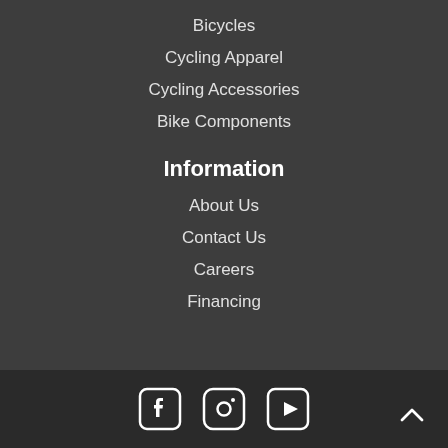Bicycles
Cycling Apparel
Cycling Accessories
Bike Components
Information
About Us
Contact Us
Careers
Financing
[Figure (illustration): Social media icons: Facebook, Instagram, YouTube, and a back-to-top arrow button]